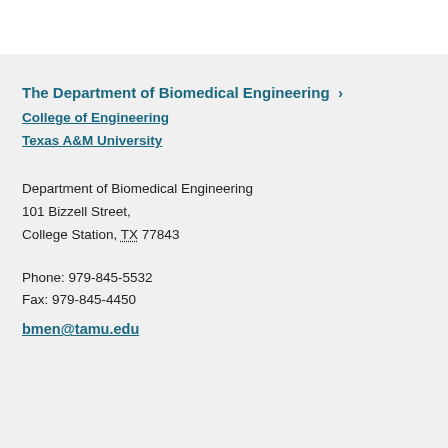The Department of Biomedical Engineering
College of Engineering
Texas A&M University
Department of Biomedical Engineering
101 Bizzell Street,
College Station, TX 77843
Phone: 979-845-5532
Fax: 979-845-4450
bmen@tamu.edu